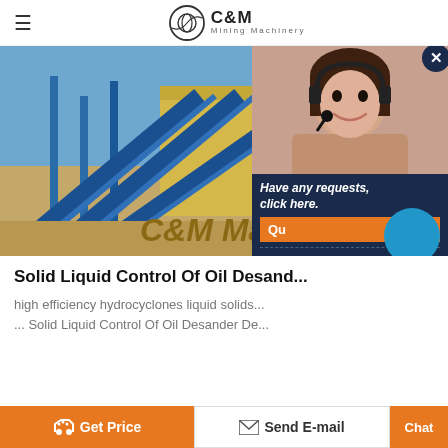[Figure (logo): C&M Mining Machinery logo with circular icon and text]
[Figure (photo): Industrial mining site with blue conveyor belts and yellow building, sandy ground, with 'C&M Mach' text overlay in gold]
[Figure (screenshot): Chat popup overlay showing female customer service agent with headset, dark navy background, text 'Have any requests, click here.', Quick button, Enquiry section, and email drobilkalm@gmail.com]
Solid Liquid Control Of Oil Desand...
high efficiency hydrocyclones liquid solids... ... Solid Liquid Control Of Oil Desander De...
[Figure (infographic): Bottom navigation bar with Get Price (orange), Send E-mail, and Chat (orange) buttons]